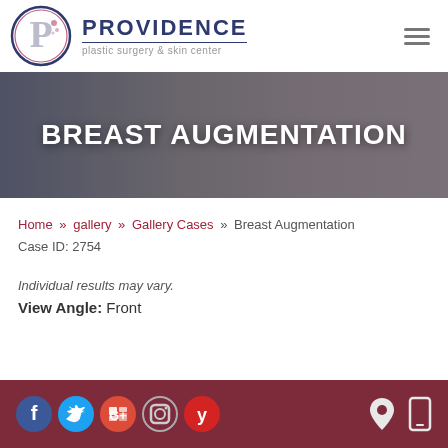PROVIDENCE plastic surgery & skin center
[Figure (photo): Hero banner photo of smiling people (couple) with overlay text BREAST AUGMENTATION]
BREAST AUGMENTATION
Home » gallery » Gallery Cases » Breast Augmentation
Case ID: 2754
Individual results may vary.
View Angle: Front
Social media icons: Facebook, Twitter, Google+, Instagram, Yelp | Location and mobile icons